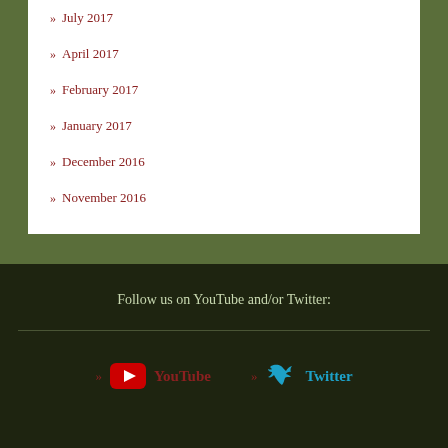» July 2017
» April 2017
» February 2017
» January 2017
» December 2016
» November 2016
Follow us on YouTube and/or Twitter:
[Figure (logo): YouTube red play button logo with text 'YouTube']
[Figure (logo): Twitter blue bird logo with text 'Twitter']